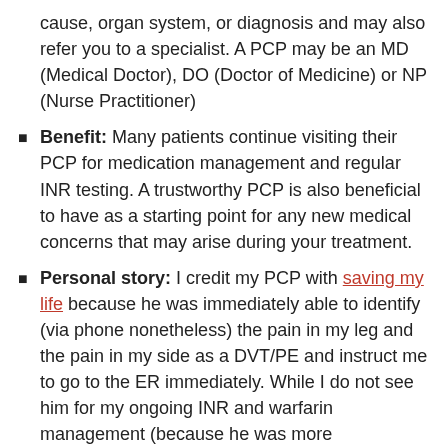cause, organ system, or diagnosis and may also refer you to a specialist. A PCP may be an MD (Medical Doctor), DO (Doctor of Medicine) or NP (Nurse Practitioner)
Benefit: Many patients continue visiting their PCP for medication management and regular INR testing. A trustworthy PCP is also beneficial to have as a starting point for any new medical concerns that may arise during your treatment.
Personal story: I credit my PCP with saving my life because he was immediately able to identify (via phone nonetheless) the pain in my leg and the pain in my side as a DVT/PE and instruct me to go to the ER immediately. While I do not see him for my ongoing INR and warfarin management (because he was more comfortable with me seeing a specialist due to the complexity of my case), he is integral in